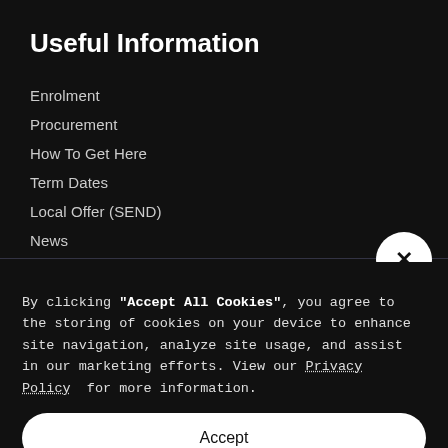Useful Information
Enrolment
Procurement
How To Get Here
Term Dates
Local Offer (SEND)
News
By clicking "Accept All Cookies", you agree to the storing of cookies on your device to enhance site navigation, analyze site usage, and assist in our marketing efforts. View our Privacy Policy for more information.
Accept
Deny
Preferences